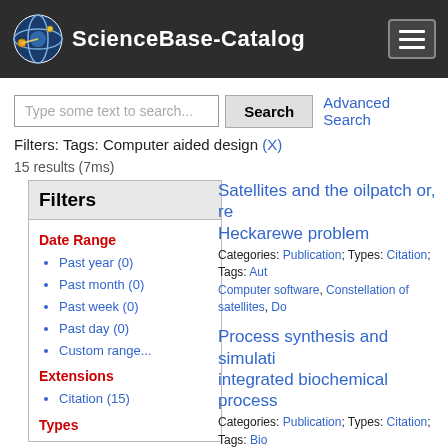ScienceBase-Catalog
Type some text to search...  Search  Advanced Search
Filters: Tags: Computer aided design (X)
15 results (7ms)
Filters
Date Range
Past year (0)
Past month (0)
Past week (0)
Past day (0)
Custom range...
Extensions
Citation (15)
Types
Satellites and the oilpatch or, re Heckarewe problem
Categories: Publication; Types: Citation; Tags: Aut Computer software, Constellation of satellites, Do
Process synthesis and simulati integrated biochemical process
Categories: Publication; Types: Citation; Tags: Bio Biochemistry; C 913.1 Production Engineering; C Computer and Information Systems Abstracts; Bio simulation, All tags...
Haztimator knowledge-base